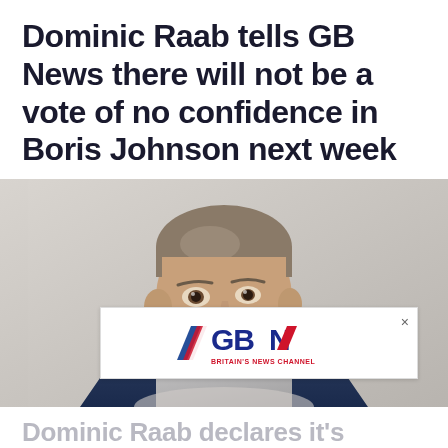Dominic Raab tells GB News there will not be a vote of no confidence in Boris Johnson next week
[Figure (photo): Photo of Dominic Raab, a man in a dark blue suit and grey tie, looking to his right, against a light grey background]
[Figure (logo): GB News logo with text BRITAIN'S NEWS CHANNEL in an advertisement banner overlay]
Dominic Raab declares it's